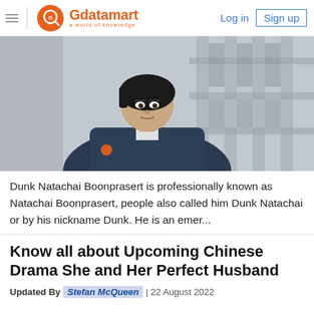Gdatamart — a world of knowledge | Log in | Sign up
[Figure (photo): Young Asian man with bowl-cut black hair wearing a dark navy jacket over a white shirt, standing outdoors in front of a building with concrete columns]
Dunk Natachai Boonprasert is professionally known as Natachai Boonprasert, people also called him Dunk Natachai or by his nickname Dunk. He is an emer...
Know all about Upcoming Chinese Drama She and Her Perfect Husband
Updated By Stefan McQueen | 22 August 2022